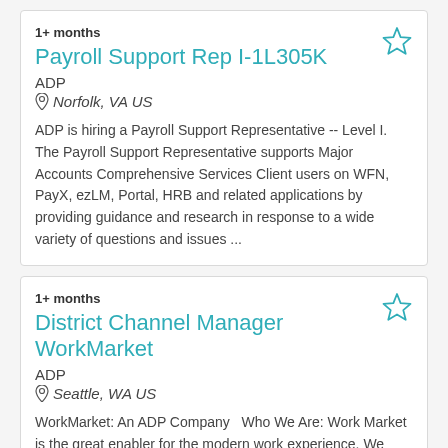1+ months
Payroll Support Rep I-1L305K
ADP
Norfolk, VA US
ADP is hiring a Payroll Support Representative -- Level I. The Payroll Support Representative supports Major Accounts Comprehensive Services Client users on WFN, PayX, ezLM, Portal, HRB and related applications by providing guidance and research in response to a wide variety of questions and issues ...
1+ months
District Channel Manager WorkMarket
ADP
Seattle, WA US
WorkMarket: An ADP Company   Who We Are: Work Market is the great enabler for the modern work experience. We were founded in 2010 with a simple